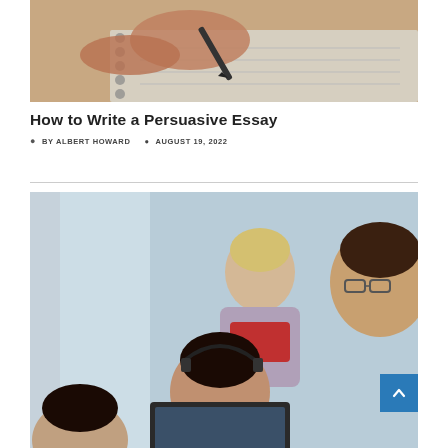[Figure (photo): Close-up of hands writing with a pen on paper, top article thumbnail image]
How to Write a Persuasive Essay
BY ALBERT HOWARD   AUGUST 19, 2022
[Figure (photo): A teacher or instructor leaning over to help students working at computers in a classroom setting]